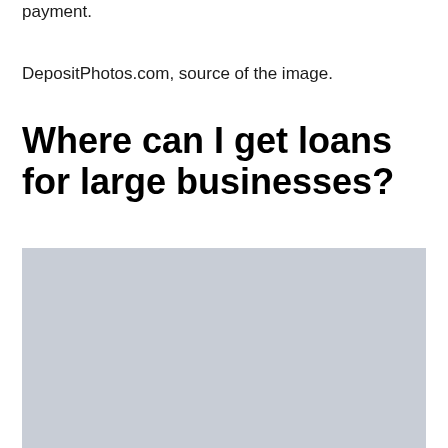payment.
DepositPhotos.com, source of the image.
Where can I get loans for large businesses?
[Figure (photo): A light gray placeholder image representing a photo from DepositPhotos.com related to large business loans.]